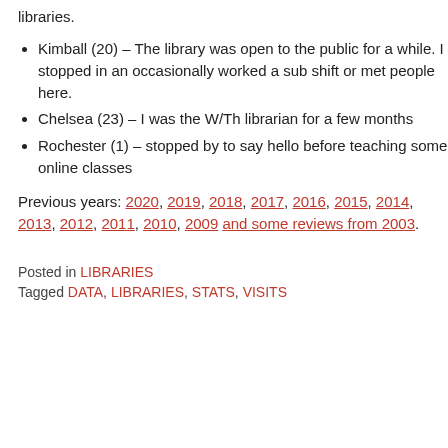libraries.
Kimball (20) – The library was open to the public for a while. I stopped in an occasionally worked a sub shift or met people here.
Chelsea (23) – I was the W/Th librarian for a few months
Rochester (1) – stopped by to say hello before teaching some online classes
Previous years: 2020, 2019, 2018, 2017, 2016, 2015, 2014, 2013, 2012, 2011, 2010, 2009 and some reviews from 2003.
Posted in LIBRARIES
Tagged DATA, LIBRARIES, STATS, VISITS